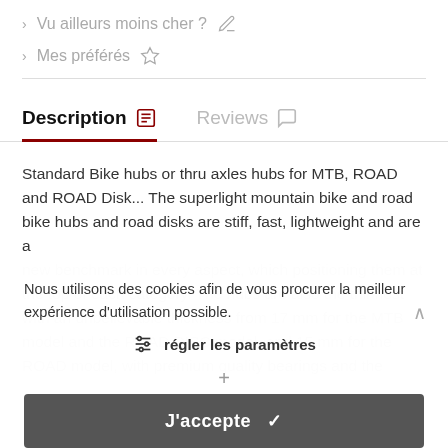> Vu ailleurs moins cher ?
> Mes préférés
Description | Reviews
Standard Bike hubs or thru axles hubs for MTB, ROAD and ROAD Disk... The superlight mountain bike and road bike hubs and road disks are stiff, fast, lightweight and are a new benchmark in every aspect, which positioning them at the top of each category. The hubs are also the thinnest with an unbelievable thickness from 17 mm for the MTB model and the ROAD DISC model, and 15 mm for the ROAD model, with premium quality bearings and the
Nous utilisons des cookies afin de vous procurer la meilleur expérience d'utilisation possible.
régler les paramètres
J'accepte ✓